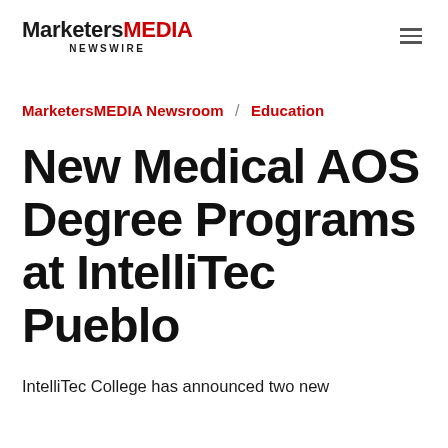MarketersMEDIA NEWSWIRE
MarketersMEDIA Newsroom / Education
New Medical AOS Degree Programs at IntelliTec Pueblo
IntelliTec College has announced two new